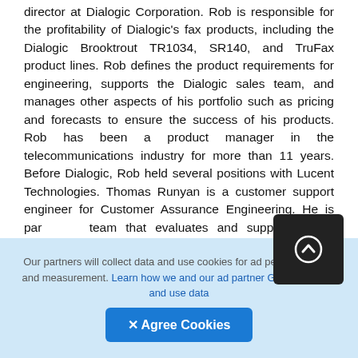director at Dialogic Corporation. Rob is responsible for the profitability of Dialogic's fax products, including the Dialogic Brooktrout TR1034, SR140, and TruFax product lines. Rob defines the product requirements for engineering, supports the Dialogic sales team, and manages other aspects of his portfolio such as pricing and forecasts to ensure the success of his products. Rob has been a product manager in the telecommunications industry for more than 11 years. Before Dialogic, Rob held several positions with Lucent Technologies. Thomas Runyan is a customer support engineer for Customer Assurance Engineering. He is part of a team that evaluates and supports Cisco emerging technologies through field trials, internal lab
Our partners will collect data and use cookies for ad personalization and measurement. Learn how we and our ad partner Google, collect and use data